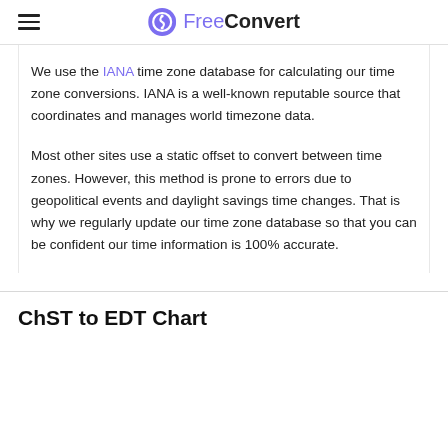FreeConvert
We use the IANA time zone database for calculating our time zone conversions. IANA is a well-known reputable source that coordinates and manages world timezone data.
Most other sites use a static offset to convert between time zones. However, this method is prone to errors due to geopolitical events and daylight savings time changes. That is why we regularly update our time zone database so that you can be confident our time information is 100% accurate.
ChST to EDT Chart